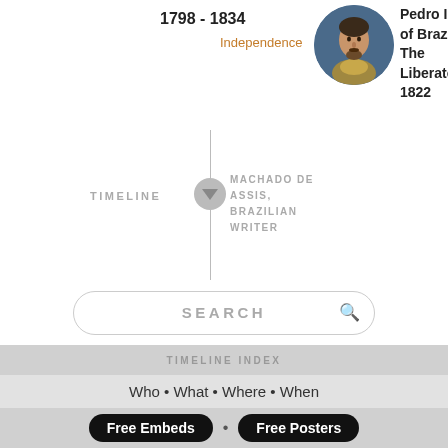1798 - 1834
Independence
[Figure (photo): Circular portrait of Pedro I of Brazil, a man with beard and period clothing against a blue background]
Pedro I of Brazil, The Liberator, 1822
TIMELINE
[Figure (other): Gray circle with downward triangle/arrow icon representing a timeline marker]
MACHADO DE ASSIS, BRAZILIAN WRITER
SEARCH
TIMELINE INDEX
Who • What • Where • When
Free Embeds
Free Posters
SIGNUP